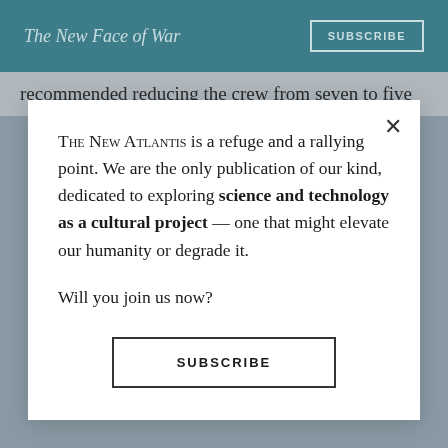The New Face of War
recommended reducing the crew from seven to five
THE NEW ATLANTIS is a refuge and a rallying point. We are the only publication of our kind, dedicated to exploring science and technology as a cultural project — one that might elevate our humanity or degrade it.

Will you join us now?
SUBSCRIBE